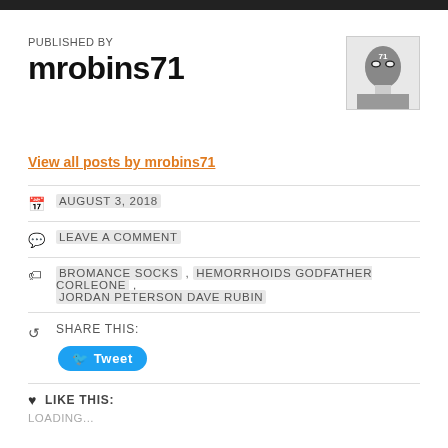PUBLISHED BY
mrobins71
[Figure (photo): Avatar photo of mrobins71 showing a masked face with the number 71]
View all posts by mrobins71
AUGUST 3, 2018
LEAVE A COMMENT
BROMANCE SOCKS , HEMORRHOIDS GODFATHER CORLEONE , JORDAN PETERSON DAVE RUBIN
SHARE THIS:
Tweet
LIKE THIS:
LOADING...